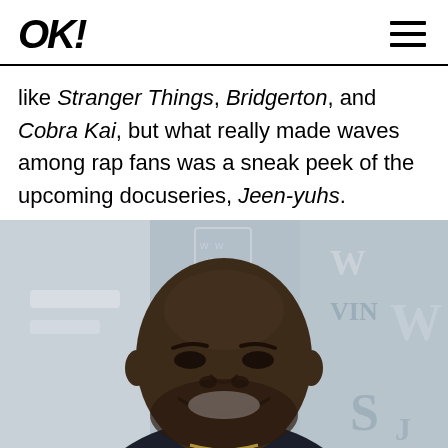OK!
like Stranger Things, Bridgerton, and Cobra Kai, but what really made waves among rap fans was a sneak peek of the upcoming docuseries, Jeen-yuhs.
[Figure (photo): Photo of a smiling Black man with a beard wearing a dark suit and gold chain necklace, against a grey background with partial letters visible (W, VIN, S).]
SOURCE: MEGA